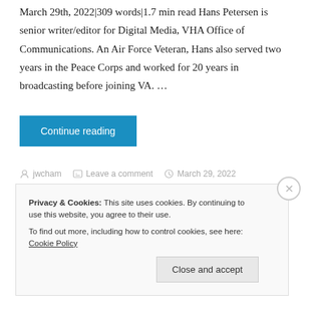March 29th, 2022|309 words|1.7 min read Hans Petersen is senior writer/editor for Digital Media, VHA Office of Communications. An Air Force Veteran, Hans also served two years in the Peace Corps and worked for 20 years in broadcasting before joining VA. …
Continue reading
jwcham   Leave a comment   March 29, 2022   2 Minutes
Privacy & Cookies: This site uses cookies. By continuing to use this website, you agree to their use.
To find out more, including how to control cookies, see here: Cookie Policy
Close and accept